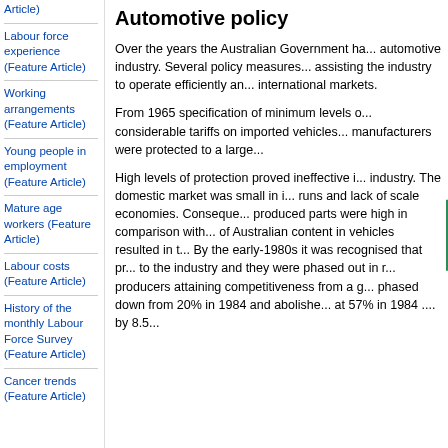Article)
Labour force experience (Feature Article)
Working arrangements (Feature Article)
Young people in employment (Feature Article)
Mature age workers (Feature Article)
Labour costs (Feature Article)
History of the monthly Labour Force Survey (Feature Article)
Cancer trends (Feature Article)
Automotive policy
Over the years the Australian Government ha... automotive industry. Several policy measures... assisting the industry to operate efficiently an... international markets.
From 1965 specification of minimum levels o... considerable tariffs on imported vehicles... manufacturers were protected to a large...
High levels of protection proved ineffective i... industry. The domestic market was small in i... runs and lack of scale economies. Conseque... produced parts were high in comparison with... of Australian content in vehicles resulted in t... By the early-1980s it was recognised that pr... to the industry and they were phased out in r... producers attaining competitiveness from a g... phased down from 20% in 1984 and abolishe... at 57% in 1984 .... by 8.5...